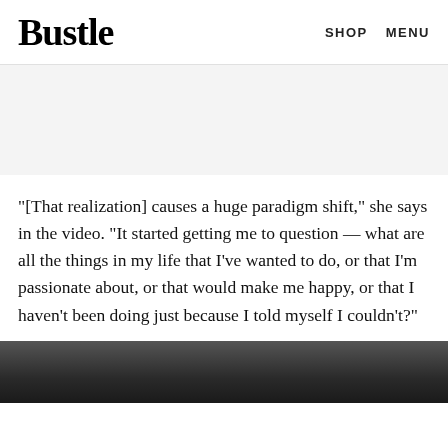Bustle  SHOP  MENU
[Figure (other): Gray advertisement banner placeholder area]
"[That realization] causes a huge paradigm shift," she says in the video. "It started getting me to question — what are all the things in my life that I've wanted to do, or that I'm passionate about, or that would make me happy, or that I haven't been doing just because I told myself I couldn't?"
[Figure (photo): Black and white photo, partially visible at bottom of page, appears to show an interior space with windows]